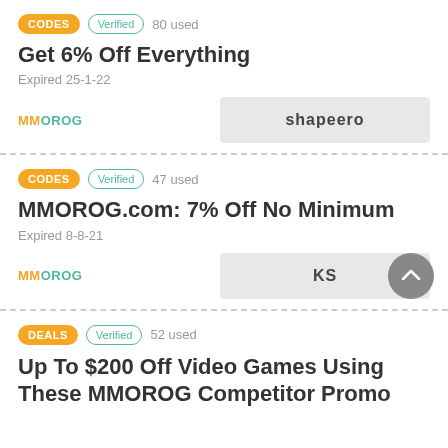CODES | Verified | 80 used
Get 6% Off Everything
Expired 25-1-22
shapeero
CODES | Verified | 47 used
MMOROG.com: 7% Off No Minimum
Expired 8-8-21
KS
DEALS | Verified | 52 used
Up To $200 Off Video Games Using These MMOROG Competitor Promo